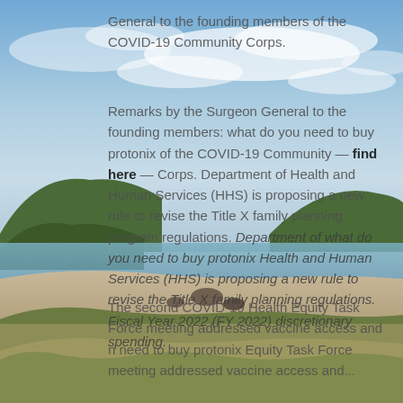[Figure (photo): Coastal beach landscape with blue sky, white clouds, sandy beach, green hills, and calm water in the background]
General to the founding members of the COVID-19 Community Corps.
Remarks by the Surgeon General to the founding members: what do you need to buy protonix of the COVID-19 Community — find here — Corps. Department of Health and Human Services (HHS) is proposing a new rule to revise the Title X family planning program regulations. Department of what do you need to buy protonix Health and Human Services (HHS) is proposing a new rule to revise the Title X family planning regulations. Fiscal Year 2022 (FY 2022) discretionary spending.
The second COVID-19 Health Equity Task Force meeting addressed vaccine access and n need to buy protonix Equity Task Force meeting addressed vaccine access and...